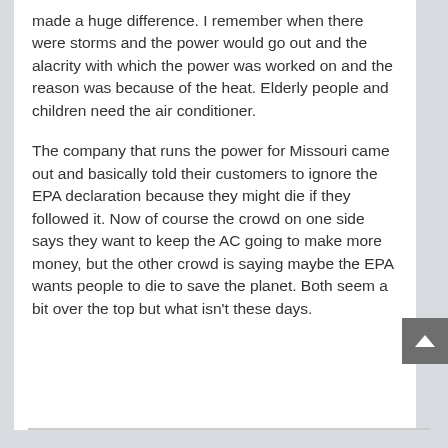made a huge difference.  I remember when there were storms and the power would go out and the alacrity with which the power was worked on and the reason was because of the heat.  Elderly people and children need the air conditioner.
The company that runs the power for Missouri came out and basically told their customers to ignore the EPA declaration because they might die if they followed it.  Now of course the crowd on one side says they want to keep the AC going to make more money, but the other crowd is saying maybe the EPA wants people to die to save the planet.  Both seem a bit over the top but what isn't these days.